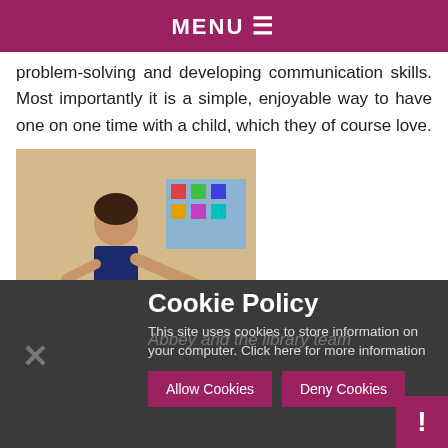MENU ≡
problem-solving and developing communication skills. Most importantly it is a simple, enjoyable way to have one on one time with a child, which they of course love.
[Figure (photo): A child reaching across a table in a classroom setting with educational materials and toys visible in the background.]
Cookie Policy
This site uses cookies to store information on your computer. Click here for more information
Allow Cookies   Deny Cookies